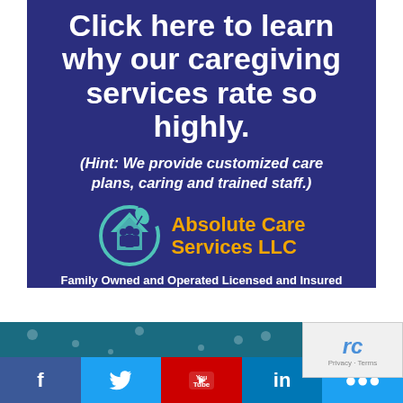[Figure (infographic): Dark navy blue advertisement for Absolute Care Services LLC with white bold headline text reading 'Click here to learn why our caregiving services rate so highly.' followed by italic white text '(Hint: We provide customized care plans, caring and trained staff.)' and the company logo with name in gold/orange and tagline 'Family Owned and Operated Licensed and Insured']
[Figure (infographic): Teal/dark cyan background with decorative white dots pattern and social media share buttons at the bottom in blue (Facebook f), light blue (Twitter bird), red (YouTube), and blue (LinkedIn in)]